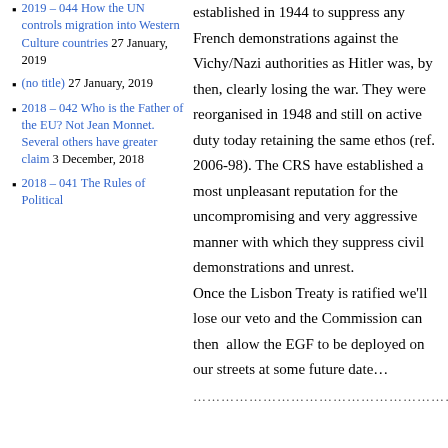2019 – 044 How the UN controls migration into Western Culture countries 27 January, 2019
(no title) 27 January, 2019
2018 – 042 Who is the Father of the EU? Not Jean Monnet. Several others have greater claim 3 December, 2018
2018 – 041 The Rules of Political
established in 1944 to suppress any French demonstrations against the Vichy/Nazi authorities as Hitler was, by then, clearly losing the war. They were reorganised in 1948 and still on active duty today retaining the same ethos (ref. 2006-98). The CRS have established a most unpleasant reputation for the uncompromising and very aggressive manner with which they suppress civil demonstrations and unrest. Once the Lisbon Treaty is ratified we'll lose our veto and the Commission can then  allow the EGF to be deployed on our streets at some future date…
…………………………………………………………………………………